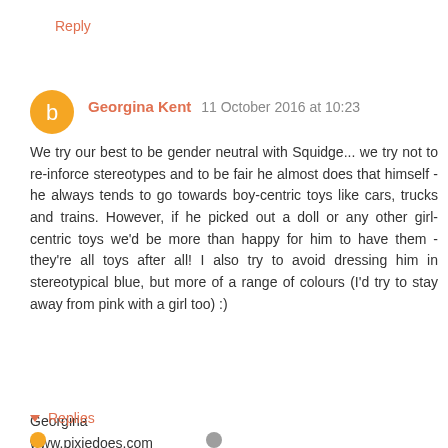Reply
Georgina Kent  11 October 2016 at 10:23
We try our best to be gender neutral with Squidge... we try not to re-inforce stereotypes and to be fair he almost does that himself - he always tends to go towards boy-centric toys like cars, trucks and trains. However, if he picked out a doll or any other girl-centric toys we'd be more than happy for him to have them - they're all toys after all! I also try to avoid dressing him in stereotypical blue, but more of a range of colours (I'd try to stay away from pink with a girl too) :)
Georgina
www.pixiedoes.com
Reply
Replies